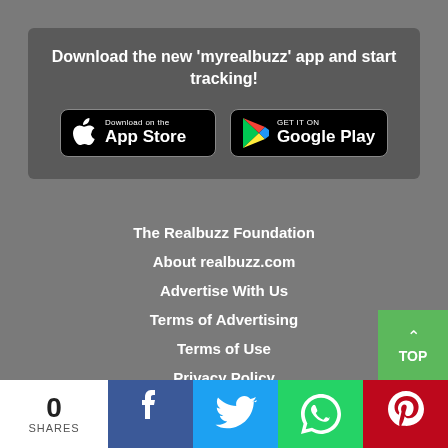Download the new 'myrealbuzz' app and start tracking!
[Figure (logo): App Store download button (black, Apple logo)]
[Figure (logo): Google Play download button (black, Play logo)]
The Realbuzz Foundation
About realbuzz.com
Advertise With Us
Terms of Advertising
Terms of Use
Privacy Policy
TOP
0 SHARES | Facebook | Twitter | WhatsApp | Pinterest